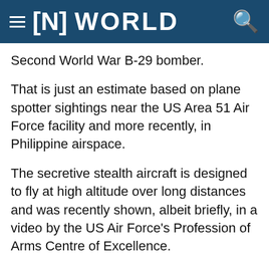[N] WORLD
Second World War B-29 bomber.
That is just an estimate based on plane spotter sightings near the US Area 51 Air Force facility and more recently, in Philippine airspace.
The secretive stealth aircraft is designed to fly at high altitude over long distances and was recently shown, albeit briefly, in a video by the US Air Force's Profession of Arms Centre of Excellence.
Global Hawk
The Global Hawk was one of the first large-scale, high-altitude long-endurance drones,